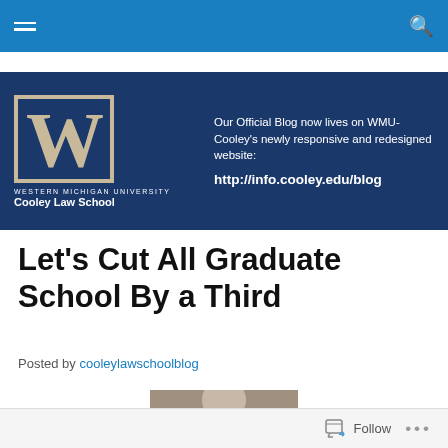Navigation bar with hamburger menu and search icon
[Figure (logo): Western Michigan University Cooley Law School banner with large W logo and text: Our Official Blog now lives on WMU-Cooley's newly responsive and redesigned website: http://info.cooley.edu/blog]
Let’s Cut All Graduate School By a Third
Posted by cooleylawschoolblog
[Figure (photo): Partial headshot photo of a person, cropped at bottom of page]
Follow ...